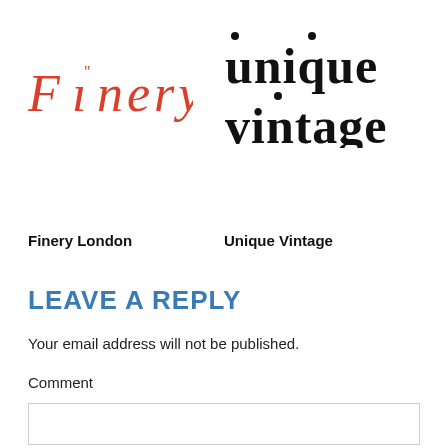[Figure (logo): Finery logo in red/coral italic serif font]
[Figure (logo): Unique Vintage logo in bold black serif font, two lines: 'unique' and 'vintage']
Finery London
Unique Vintage
LEAVE A REPLY
Your email address will not be published.
Comment